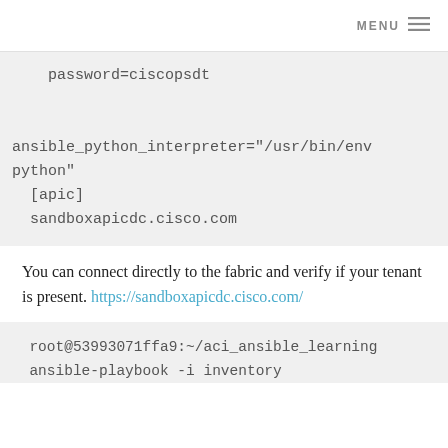MENU ≡
password=ciscopsdt

ansible_python_interpreter="/usr/bin/env python"
[apic]
sandboxapicdc.cisco.com
You can connect directly to the fabric and verify if your tenant is present. https://sandboxapicdc.cisco.com/
root@53993071ffa9:~/aci_ansible_learning
ansible-playbook -i inventory